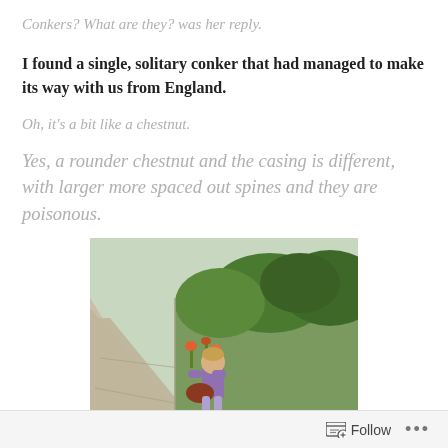Conkers? What are they?  was her reply.
I found a single, solitary conker that had managed to make its way with us from England.
Oh, it's a bit like a chestnut.
Yes, a rounder chestnut and the casing is different, with larger more spaced out spines and they are poisonous.
[Figure (photo): A young child standing on a sidewalk next to a grassy area with bushes and trees, holding something dark and reddish in their hands. Outdoor scene on a sunny day.]
Follow ...